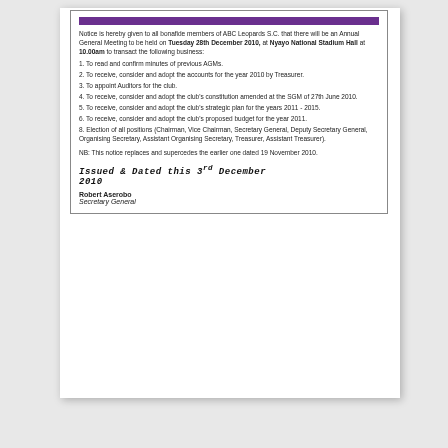Notice is hereby given to all bonafide members of ABC Leopards S.C. that there will be an Annual General Meeting to be held on Tuesday 28th December 2010, at Nyayo National Stadium Hall at 10.00am to transact the following business:
1. To read and confirm minutes of previous AGMs.
2. To receive, consider and adopt the accounts for the year 2010 by Treasurer.
3. To appoint Auditors for the club.
4. To receive, consider and adopt the club's constitution amended at the SGM of 27th June 2010.
5. To receive, consider and adopt the club's strategic plan for the years 2011 - 2015.
6. To receive, consider and adopt the club's proposed budget for the year 2011.
8. Election of all positions (Chairman, Vice Chairman, Secretary General, Deputy Secretary General, Organising Secretary, Assistant Organising Secretary, Treasurer, Assistant Treasurer).
NB: This notice replaces and supercedes the earlier one dated 19 November 2010.
ISSUED & DATED this 3RD DECEMBER 2010
Robert Aserobo
Secretary General